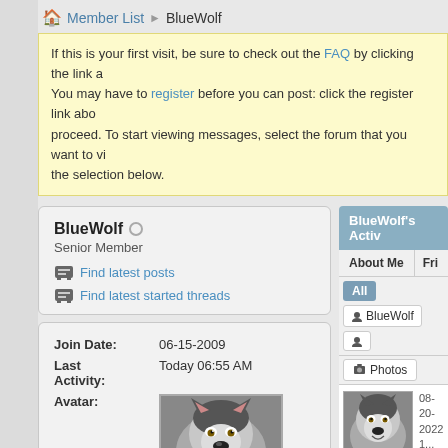Member List > BlueWolf
If this is your first visit, be sure to check out the FAQ by clicking the link a... You may have to register before you can post: click the register link abo... proceed. To start viewing messages, select the forum that you want to vi... the selection below.
BlueWolf's Activ...
BlueWolf
Senior Member
Find latest posts
Find latest started threads
| Field | Value |
| --- | --- |
| Join Date: | 06-15-2009 |
| Last Activity: | Today 06:55 AM |
| Avatar: | (husky dog image) |
1 Friend
More
08-20-2022, 1... AM
BlueW... replied... thread... Rules... Pick o... Year (PoTY... 2022 in... Discu...